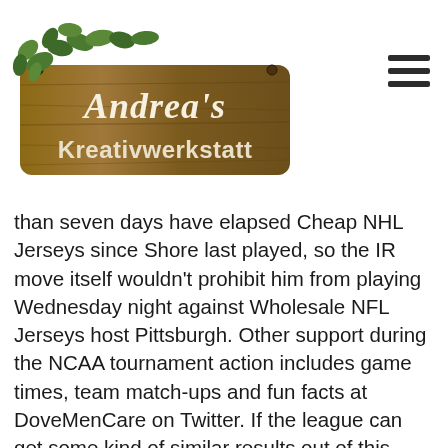[Figure (logo): Andrea's Kreativwerkstatt logo — a wooden sign with ivy decorations and cursive/sans-serif text]
than seven days have elapsed Cheap NHL Jerseys since Shore last played, so the IR move itself wouldn't prohibit him from playing Wednesday night against Wholesale NFL Jerseys host Pittsburgh. Other support during the NCAA tournament action includes game times, team match-ups and fun facts at DoveMenCare on Twitter. If the league can get some kind of similar results out of this Kaepernick workout – or at least a response to the nobody has worked him out Cheap NFL Jerseys Nike criticism – this will be a win regardless of how anyone Cheap Jerseys For Sale slices it. She ended the decade on a high note as well. Naz Bohannon had 17 points and Cheap NFL Jerseys Nike eight rebounds for the Penguins , whose six-game winning streak came to end. If Williams has to take a step back this Sunday versus the